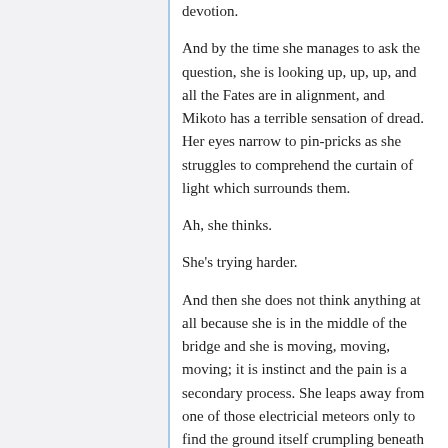devotion.
And by the time she manages to ask the question, she is looking up, up, up, and all the Fates are in alignment, and Mikoto has a terrible sensation of dread. Her eyes narrow to pin-pricks as she struggles to comprehend the curtain of light which surrounds them.
Ah, she thinks.
She's trying harder.
And then she does not think anything at all because she is in the middle of the bridge and she is moving, moving, moving; it is instinct and the pain is a secondary process. She leaps away from one of those electricial meteors only to find the ground itself crumpling beneath her from the force of its impact, and when she springs from stool to